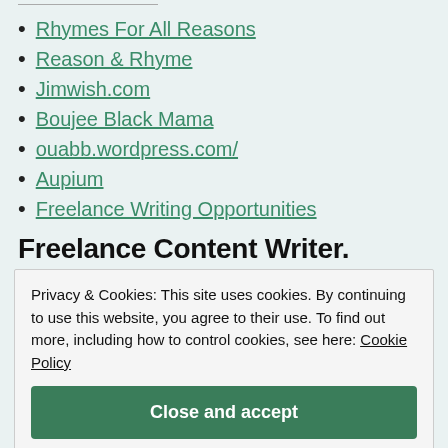Rhymes For All Reasons
Reason & Rhyme
Jimwish.com
Boujee Black Mama
ouabb.wordpress.com/
Aupium
Freelance Writing Opportunities
Freelance Content Writer.
Privacy & Cookies: This site uses cookies. By continuing to use this website, you agree to their use. To find out more, including how to control cookies, see here: Cookie Policy
Close and accept